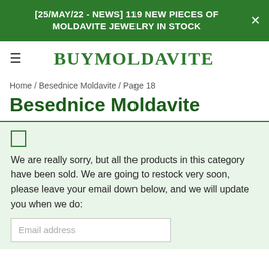[25/MAY/22 - NEWS] 119 NEW PIECES OF MOLDAVITE JEWELRY IN STOCK
BUYMOLDAVITE
Home / Besednice Moldavite / Page 18
Besednice Moldavite
We are really sorry, but all the products in this category have been sold. We are going to restock very soon, please leave your email down below, and we will update you when we do:
Email address